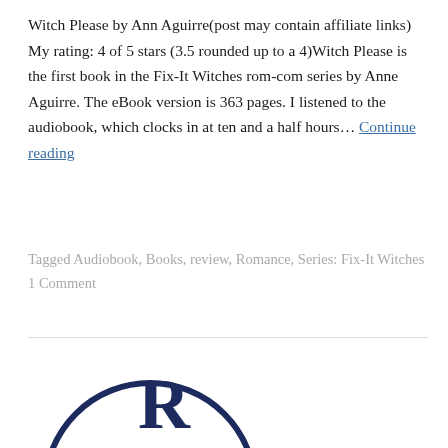Witch Please by Ann Aguirre(post may contain affiliate links) My rating: 4 of 5 stars (3.5 rounded up to a 4)Witch Please is the first book in the Fix-It Witches rom-com series by Anne Aguirre. The eBook version is 363 pages. I listened to the audiobook, which clocks in at ten and a half hours… Continue reading
Tagged Audiobook, Books, review, Romance, Series: Fix-It Witches
1 Comment
[Figure (illustration): Partial circle/logo visible at bottom of page, dark navy blue outline of a circle with a letter or symbol inside, cropped at bottom edge]